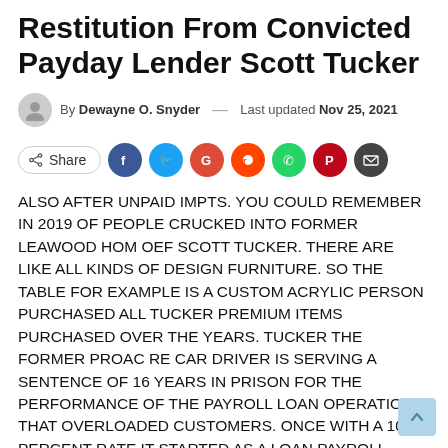Restitution From Convicted Payday Lender Scott Tucker
By Dewayne O. Snyder — Last updated Nov 25, 2021
[Figure (infographic): Social share row with Share button and social media icons: Facebook (blue), Twitter (cyan), Google (red), Reddit (orange), WhatsApp (green), Pinterest (dark red), Email (dark gray)]
ALSO AFTER UNPAID IMPTS. YOU COULD REMEMBER IN 2019 OF PEOPLE CRUCKED INTO FORMER LEAWOOD HOM OEF SCOTT TUCKER. THERE ARE LIKE ALL KINDS OF DESIGN FURNITURE. SO THE TABLE FOR EXAMPLE IS A CUSTOM ACRYLIC PERSON PURCHASED ALL TUCKER PREMIUM ITEMS PURCHASED OVER THE YEARS. TUCKER THE FORMER PROAC RE CAR DRIVER IS SERVING A SENTENCE OF 16 YEARS IN PRISON FOR THE PERFORMANCE OF THE PAYROLL LOAN OPERATION THAT OVERLOADED CUSTOMERS. ONCE WITH A 1000 PERCENT RATE IT STARTED AS A LOAN PAYROLL PROGRAM OR A FRAUD AND MOVED INTO OKAY NOW THERE ARE TAXES